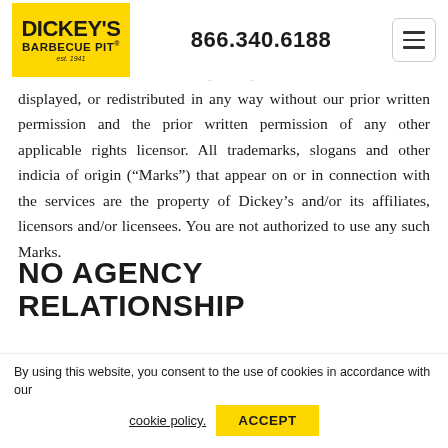DICKEY'S BARBECUE PIT est. 1941 | 866.340.6188
nnnited, sold, offered for sale, publicly displayed, or redistributed in any way without our prior written permission and the prior written permission of any other applicable rights licensor. All trademarks, slogans and other indicia of origin (“Marks”) that appear on or in connection with the services are the property of Dickey’s and/or its affiliates, licensors and/or licensees. You are not authorized to use any such Marks.
NO AGENCY RELATIONSHIP
Neither these Terms and Conditions of Use, nor any
By using this website, you consent to the use of cookies in accordance with our cookie policy.